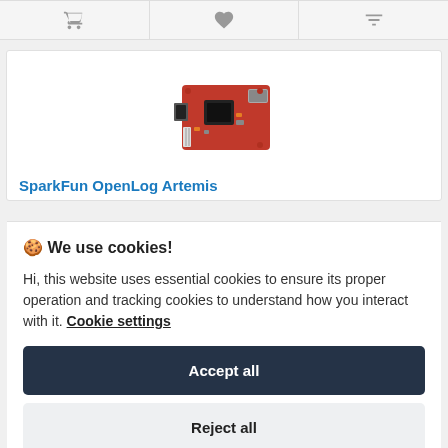[Figure (other): Icon bar with shopping cart, heart/wishlist, and filter/compare icons]
[Figure (photo): SparkFun OpenLog Artemis PCB board product photo - red circuit board with connectors]
SparkFun OpenLog Artemis
🍪 We use cookies!
Hi, this website uses essential cookies to ensure its proper operation and tracking cookies to understand how you interact with it. Cookie settings
Accept all
Reject all
atmospheric sensor, digital, barometric pressure, humidity, temperature